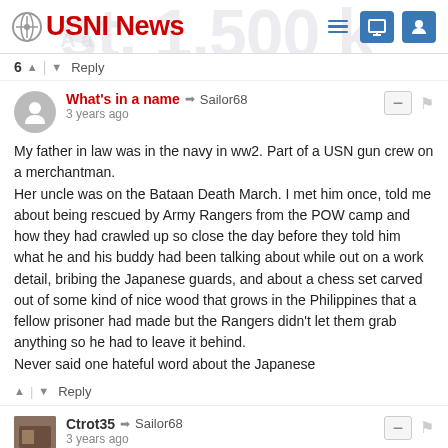USNI News
6 ^ | v Reply
What's in a name → Sailor68
3 years ago
My father in law was in the navy in ww2. Part of a USN gun crew on a merchantman.
Her uncle was on the Bataan Death March. I met him once, told me about being rescued by Army Rangers from the POW camp and how they had crawled up so close the day before they told him what he and his buddy had been talking about while out on a work detail, bribing the Japanese guards, and about a chess set carved out of some kind of nice wood that grows in the Philippines that a fellow prisoner had made but the Rangers didn't let them grab anything so he had to leave it behind.
Never said one hateful word about the Japanese
^ | v Reply
Ctrot35 → Sailor68
3 years ago